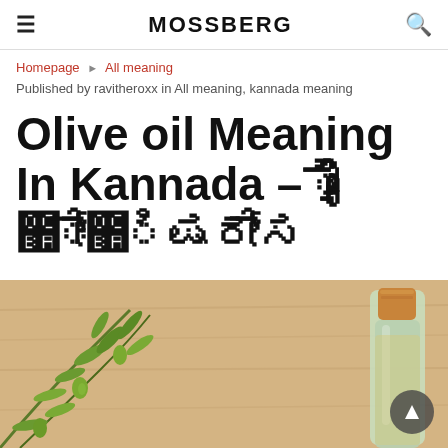MOSSBERG
Homepage ▶ All meaning
Published by ravitheroxx in All meaning, kannada meaning
Olive oil Meaning In Kannada – ಆಲಿವ್ ಎಣ್ಣೆ ಅರ್ಥ
[Figure (photo): Photo of olive branches with green olives and a glass bottle of olive oil with a cork stopper, on a wooden surface background.]